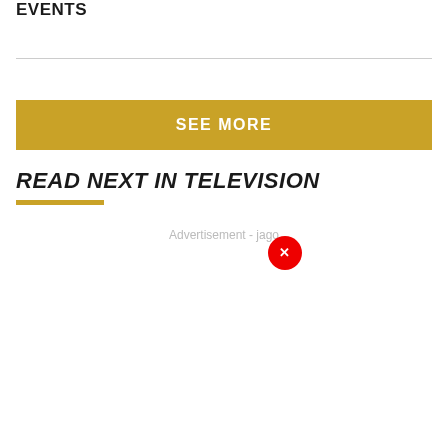Events
SEE MORE
READ NEXT IN TELEVISION
Advertisement - jago